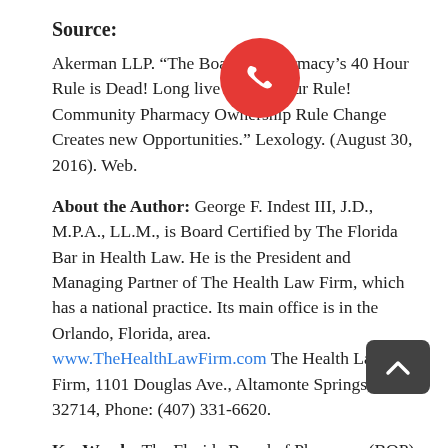Source:
Akerman LLP. “The Board of Pharmacy’s 40 Hour Rule is Dead! Long live the 20 Hour Rule! Community Pharmacy Ownership Rule Change Creates new Opportunities.” Lexology. (August 30, 2016). Web.
About the Author: George F. Indest III, J.D., M.P.A., LL.M., is Board Certified by The Florida Bar in Health Law. He is the President and Managing Partner of The Health Law Firm, which has a national practice. Its main office is in the Orlando, Florida, area. www.TheHealthLawFirm.com The Health Law Firm, 1101 Douglas Ave., Altamonte Springs, FL 32714, Phone: (407) 331-6620.
KeyWords: The Florida Board of Pharmacy (BOP) attorneys, pharmacy hours of operation, reduced daily operating hours for pharmacies, community pharmacies may delay opening of business after receipt of permit,